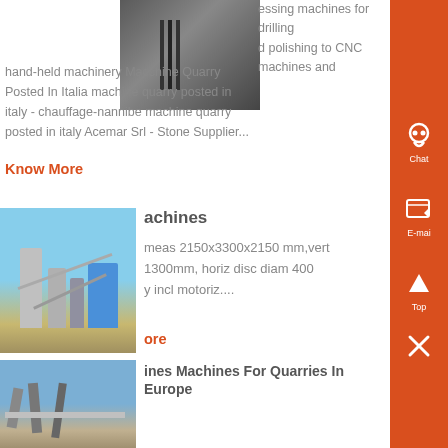[Figure (photo): Industrial machinery facility exterior with scaffolding and equipment]
essing machines for drilling and polishing to CNC machines and hand-held machinery Macchine Quarry Posted In Italia machine quarry posted in italy - chauffage-nannibe machine quarry posted in italy Acemar Srl - Stone Supplier...
Know More
[Figure (photo): Industrial silos and processing equipment outdoors under blue sky]
achines
meas 2150x3300x2150 mm,vert 1300mm, horiz disc diam 400 y incl motoriz....
ore
[Figure (photo): Industrial pipes and machinery for quarries in Europe]
ines Machines For Quarries In Europe